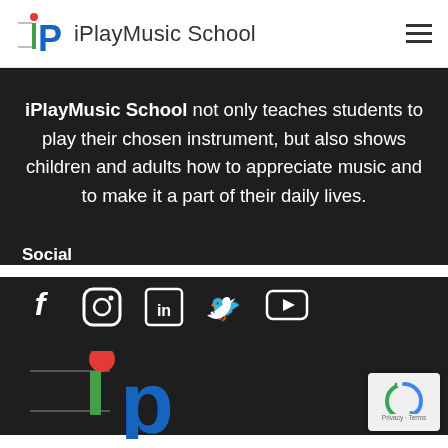iPlayMusic School
iPlayMusic School not only teaches students to play their chosen instrument, but also shows children and adults how to appreciate music and to make it a part of their daily lives.
Social
[Figure (logo): Social media icons: Facebook, Instagram, LinkedIn, Twitter, YouTube]
[Figure (logo): iPlayMusic School footer logo — large stylized 'iP' with red dot, green vertical bar, blue letter P, on dark background]
[Figure (logo): reCAPTCHA badge — Privacy · Terms]